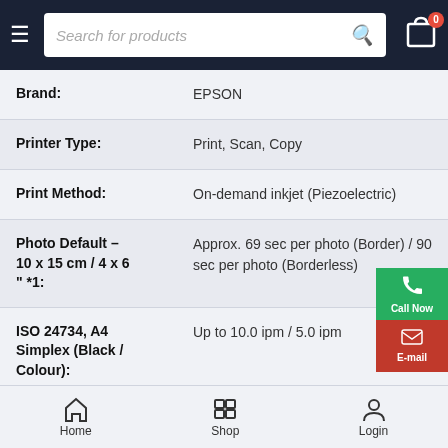Search for products
| Specification | Value |
| --- | --- |
| Brand: | EPSON |
| Printer Type: | Print, Scan, Copy |
| Print Method: | On-demand inkjet (Piezoelectric) |
| Photo Default – 10 x 15 cm / 4 x 6 " *1: | Approx. 69 sec per photo (Border) / 90 sec per photo (Borderless) |
| ISO 24734, A4 Simplex (Black / Colour): | Up to 10.0 ipm / 5.0 ipm |
| Maximum Copies from Standalone: | 20 copies |
| Maximum Copy | 600 x 600 dpi |
Home | Shop | Login